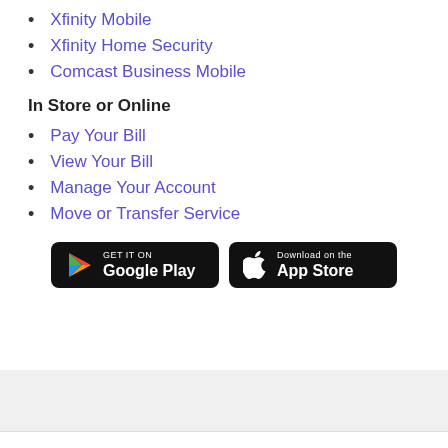Xfinity Mobile
Xfinity Home Security
Comcast Business Mobile
In Store or Online
Pay Your Bill
View Your Bill
Manage Your Account
Move or Transfer Service
[Figure (other): Google Play and Apple App Store download buttons]